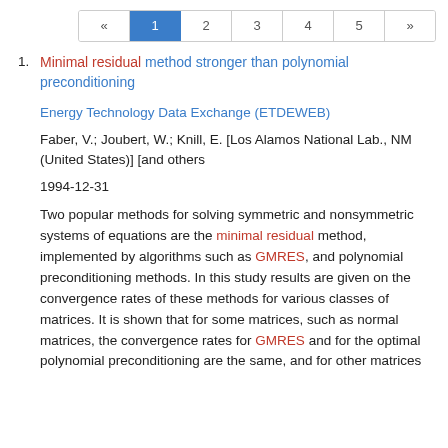« 1 2 3 4 5 »
1. Minimal residual method stronger than polynomial preconditioning
Energy Technology Data Exchange (ETDEWEB)
Faber, V.; Joubert, W.; Knill, E. [Los Alamos National Lab., NM (United States)] [and others
1994-12-31
Two popular methods for solving symmetric and nonsymmetric systems of equations are the minimal residual method, implemented by algorithms such as GMRES, and polynomial preconditioning methods. In this study results are given on the convergence rates of these methods for various classes of matrices. It is shown that for some matrices, such as normal matrices, the convergence rates for GMRES and for the optimal polynomial preconditioning are the same, and for other matrices